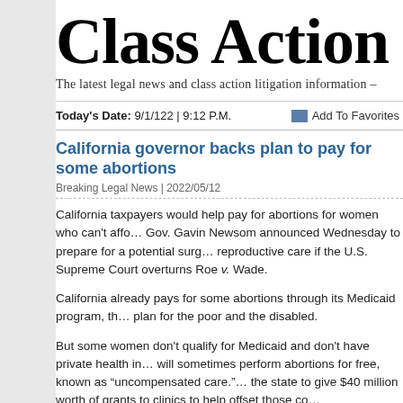Class Action Ti...
The latest legal news and class action litigation information –
Today's Date: 9/1/122 | 9:12 P.M.    Add To Favorites
California governor backs plan to pay for some abortions
Breaking Legal News | 2022/05/12
California taxpayers would help pay for abortions for women who can't affo... Gov. Gavin Newsom announced Wednesday to prepare for a potential surg... reproductive care if the U.S. Supreme Court overturns Roe v. Wade.
California already pays for some abortions through its Medicaid program, th... plan for the poor and the disabled.
But some women don't qualify for Medicaid and don't have private health in... will sometimes perform abortions for free, known as "uncompensated care."... the state to give $40 million worth of grants to clinics to help offset those co...
An abortion can cost between a few hundred dollars and a few thousand do... far along the pregnancy is and what kind of insurance a patient has.